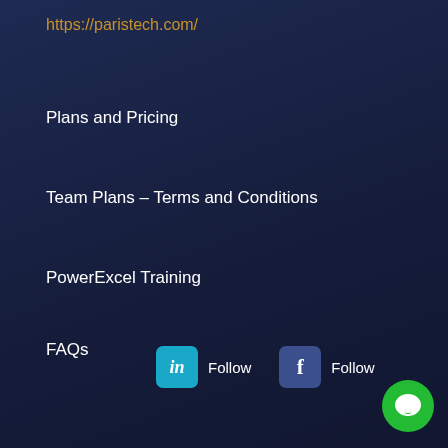https://paristech.com/
Plans and Pricing
Team Plans – Terms and Conditions
PowerExcel Training
FAQs
Contact Us
Blog
[Figure (logo): LinkedIn and Facebook social follow buttons with icons]
[Figure (illustration): Green circular chat/message button in bottom right corner]